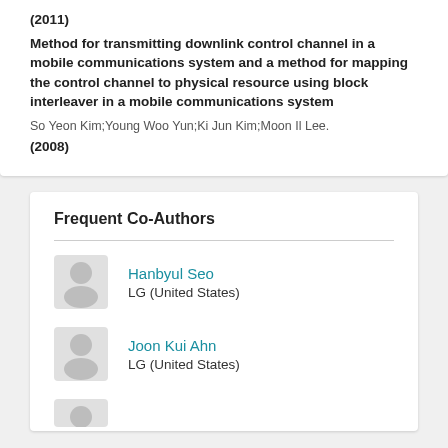(2011)
Method for transmitting downlink control channel in a mobile communications system and a method for mapping the control channel to physical resource using block interleaver in a mobile communications system
So Yeon Kim;Young Woo Yun;Ki Jun Kim;Moon Il Lee.
(2008)
Frequent Co-Authors
Hanbyul Seo
LG (United States)
Joon Kui Ahn
LG (United States)